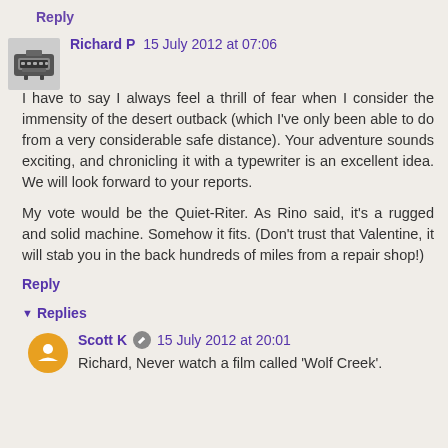Reply
Richard P  15 July 2012 at 07:06
I have to say I always feel a thrill of fear when I consider the immensity of the desert outback (which I've only been able to do from a very considerable safe distance). Your adventure sounds exciting, and chronicling it with a typewriter is an excellent idea. We will look forward to your reports.

My vote would be the Quiet-Riter. As Rino said, it's a rugged and solid machine. Somehow it fits. (Don't trust that Valentine, it will stab you in the back hundreds of miles from a repair shop!)
Reply
Replies
Scott K  15 July 2012 at 20:01
Richard, Never watch a film called 'Wolf Creek'.